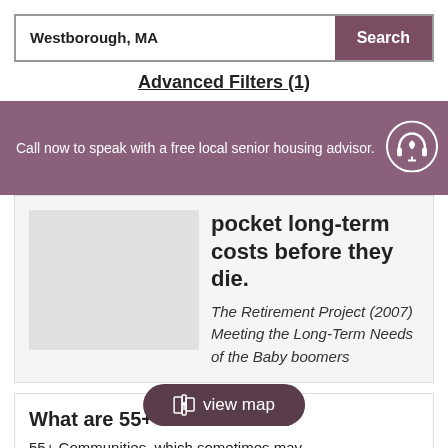Westborough, MA
Search
Advanced Filters (1)
Call now to speak with a free local senior housing advisor.
pocket long-term costs before they die. The Retirement Project (2007) Meeting the Long-Term Needs of the Baby boomers
What are 55+ communities?
55+ Communities, which sometimes may be called ag... nities, active adult housing, age-restricted
view map